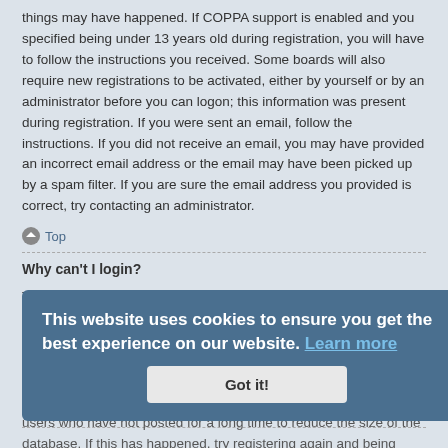things may have happened. If COPPA support is enabled and you specified being under 13 years old during registration, you will have to follow the instructions you received. Some boards will also require new registrations to be activated, either by yourself or by an administrator before you can logon; this information was present during registration. If you were sent an email, follow the instructions. If you did not receive an email, you may have provided an incorrect email address or the email may have been picked up by a spam filter. If you are sure the email address you provided is correct, try contacting an administrator.
Top
Why can't I login?
There are several reasons why this could occur. First, ensure your username and password are correct. If they are, contact a board administrator to make sure you haven't been banned. It is also possible the website owner has a configuration error on their end, and they would need to fix it.
Top
[Figure (other): Cookie consent banner overlay: 'This website uses cookies to ensure you get the best experience on our website. Learn more' with a 'Got it!' button]
I registered in the past but cannot login any more?!
It is possible an administrator has deactivated or deleted your account for some reason. Also, many boards periodically remove users who have not posted for a long time to reduce the size of the database. If this has happened, try registering again and being more involved in discussions.
Top